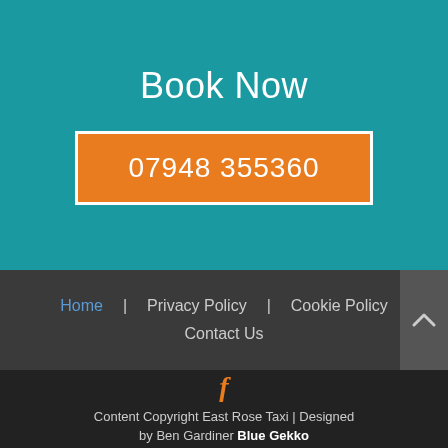Book Now
07948 355360
Home | Privacy Policy | Cookie Policy | Contact Us
[Figure (logo): Facebook icon letter f in orange]
Content Copyright East Rose Taxi | Designed by Ben Gardiner Blue Gekko